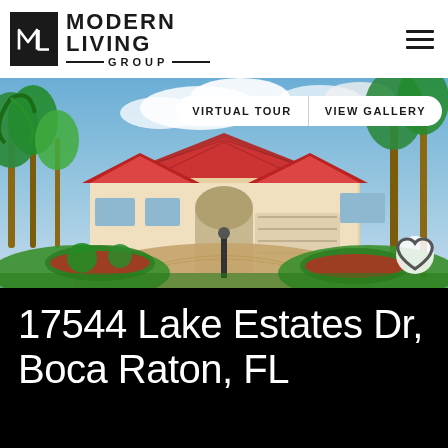[Figure (logo): Modern Living Group logo — black square with ML monogram, bold text MODERN LIVING GROUP with decorative lines]
[Figure (photo): Aerial/street view of a luxury Florida Mediterranean estate with red tile roof, circular driveway, lush tropical landscaping, palm trees, and manicured gardens]
17544 Lake Estates Dr, Boca Raton, FL